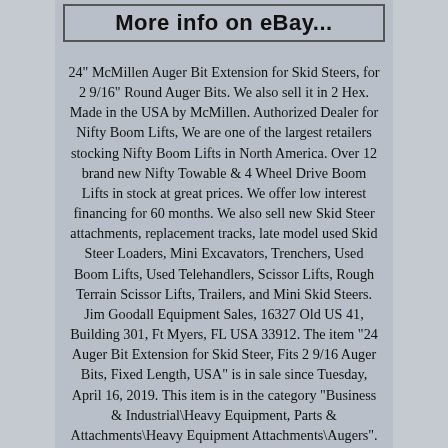More info on eBay...
24" McMillen Auger Bit Extension for Skid Steers, for 2 9/16" Round Auger Bits. We also sell it in 2 Hex. Made in the USA by McMillen. Authorized Dealer for Nifty Boom Lifts, We are one of the largest retailers stocking Nifty Boom Lifts in North America. Over 12 brand new Nifty Towable & 4 Wheel Drive Boom Lifts in stock at great prices. We offer low interest financing for 60 months. We also sell new Skid Steer attachments, replacement tracks, late model used Skid Steer Loaders, Mini Excavators, Trenchers, Used Boom Lifts, Used Telehandlers, Scissor Lifts, Rough Terrain Scissor Lifts, Trailers, and Mini Skid Steers. Jim Goodall Equipment Sales, 16327 Old US 41, Building 301, Ft Myers, FL USA 33912. The item "24 Auger Bit Extension for Skid Steer, Fits 2 9/16 Auger Bits, Fixed Length, USA" is in sale since Tuesday, April 16, 2019. This item is in the category "Business & Industrial\Heavy Equipment, Parts & Attachments\Heavy Equipment Attachments\Augers". The seller is